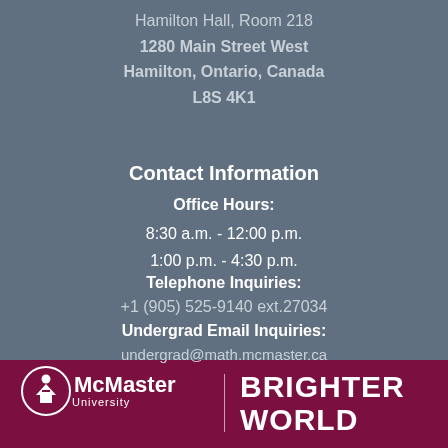Hamilton Hall, Room 218
1280 Main Street West
Hamilton, Ontario, Canada
L8S 4K1
Contact Information
Office Hours:
8:30 a.m. - 12:00 p.m.
1:00 p.m. - 4:30 p.m.
Telephone Inquiries:
+1 (905) 525-9140 ext.27034
Undergrad Email Inquiries:
undergrad@math.mcmaster.ca
[Figure (logo): McMaster University logo with circular figure icon and McMaster text, alongside BRIGHTER WORLD text on maroon background]